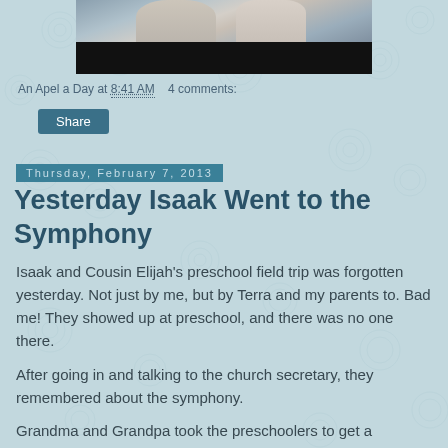[Figure (photo): Partial photo of people outdoors with a black bar below it]
An Apel a Day at 8:41 AM   4 comments:
Share
Thursday, February 7, 2013
Yesterday Isaak Went to the Symphony
Isaak and Cousin Elijah's preschool field trip was forgotten yesterday. Not just by me, but by Terra and my parents to. Bad me! They showed up at preschool, and there was no one there.
After going in and talking to the church secretary, they remembered about the symphony.
Grandma and Grandpa took the preschoolers to get a